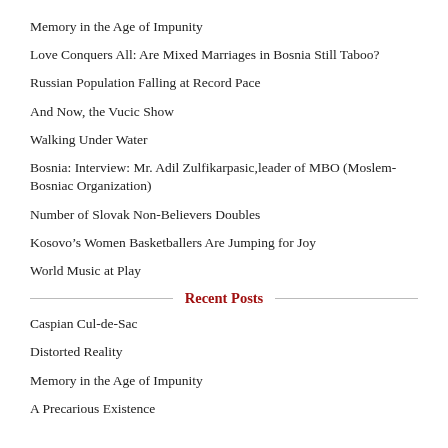Memory in the Age of Impunity
Love Conquers All: Are Mixed Marriages in Bosnia Still Taboo?
Russian Population Falling at Record Pace
And Now, the Vucic Show
Walking Under Water
Bosnia: Interview: Mr. Adil Zulfikarpasic,leader of MBO (Moslem-Bosniac Organization)
Number of Slovak Non-Believers Doubles
Kosovo’s Women Basketballers Are Jumping for Joy
World Music at Play
Recent Posts
Caspian Cul-de-Sac
Distorted Reality
Memory in the Age of Impunity
A Precarious Existence